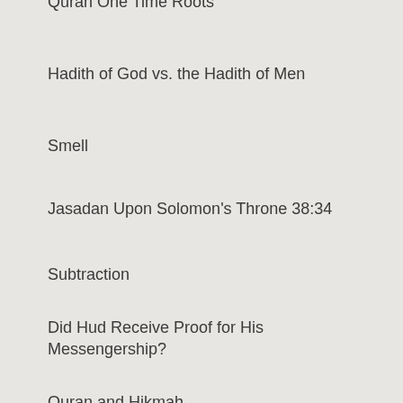Quran One Time Roots
Hadith of God vs. the Hadith of Men
Smell
Jasadan Upon Solomon's Throne 38:34
Subtraction
Did Hud Receive Proof for His Messengership?
Quran and Hikmah
Who Claimed Masses From The Sky
The Pursuit of Truth
Miserable Is What He Decided